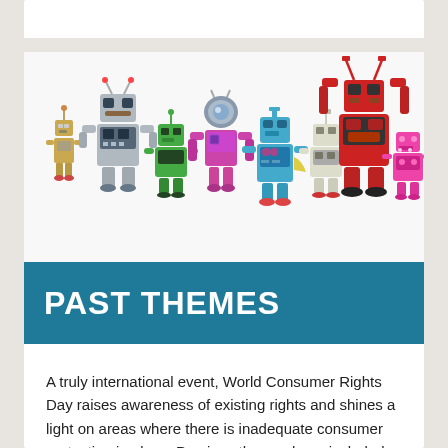[Figure (photo): A row of nine colorful vintage toy robots of varying sizes and colors arranged on a white background. Colors include silver, green, teal, pink/magenta, light blue, white/red, large red, and small pink.]
PAST THEMES
A truly international event, World Consumer Rights Day raises awareness of existing rights and shines a light on areas where there is inadequate consumer protection in place. Previous themes have included campaigns on: